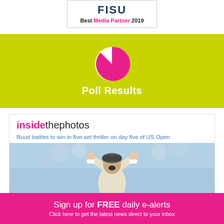[Figure (logo): FISU logo with text 'Best Media Partner 2019']
[Figure (infographic): Poll Results banner with pie chart icon on lime green background]
insidethephotos
Ruud battles to win in five-set thriller on day five of US Open
[Figure (photo): Tennis player celebrating victory with fists raised, crowd in background]
Sign up for FREE daily e-alerts
Click here to get the latest news direct to your inbox